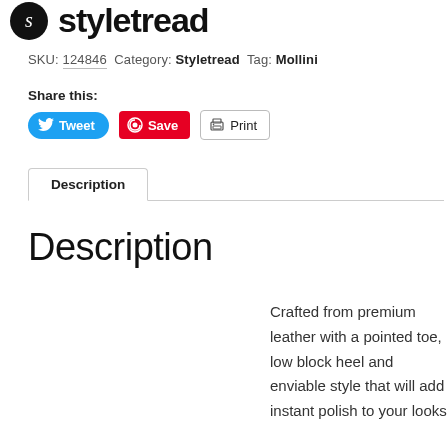[Figure (logo): Styletread logo with circular icon and stylized text]
SKU: 124846 Category: Styletread Tag: Mollini
Share this:
Tweet  Save  Print
Description
Description
Crafted from premium leather with a pointed toe, low block heel and enviable style that will add instant polish to your looks